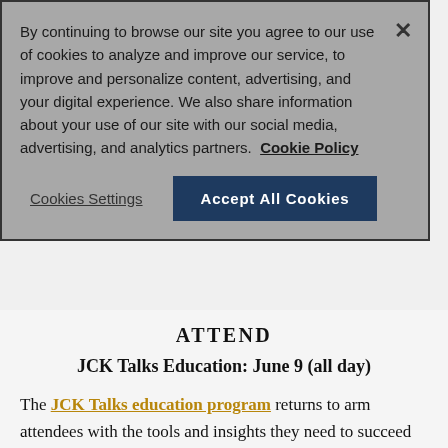By continuing to browse our site you agree to our use of cookies to analyze and improve our service, to improve and personalize content, advertising, and your digital experience. We also share information about your use of our site with our social media, advertising, and analytics partners. Cookie Policy
Cookies Settings
Accept All Cookies
ATTEND
JCK Talks Education: June 9 (all day)
The JCK Talks education program returns to arm attendees with the tools and insights they need to succeed in the current retail climate. Encounter the full range of retail strategists, experts, and trend